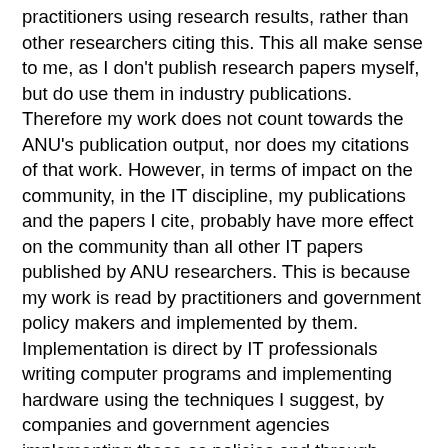practitioners using research results, rather than other researchers citing this. This all make sense to me, as I don't publish research papers myself, but do use them in industry publications. Therefore my work does not count towards the ANU's publication output, nor does my citations of that work. However, in terms of impact on the community, in the IT discipline, my publications and the papers I cite, probably have more effect on the community than all other IT papers published by ANU researchers. This is because my work is read by practitioners and government policy makers and implemented by them. Implementation is direct by IT professionals writing computer programs and implementing hardware using the techniques I suggest, by companies and government agencies implementing these as policies and through implementation in standards and laws.
Dr Claire Donovan, Lecturer in Sociology, ANU, talked about Research Impact – the Wider Dimension.
At that point there was supposed to be 40 minutes of questions and discussion. However, as the speakers ran over time there was only 4 minutes left for questions. This